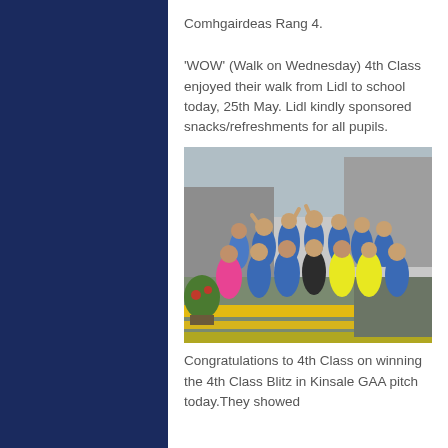Comhgairdeas Rang 4.
'WOW' (Walk on Wednesday) 4th Class enjoyed their walk from Lidl to school today, 25th May. Lidl kindly sponsored snacks/refreshments for all pupils.
[Figure (photo): Group photo of 4th Class students outside a Lidl store, some wearing high-visibility yellow vests and a pink vest, posing and cheering.]
Congratulations to 4th Class on winning the 4th Class Blitz in Kinsale GAA pitch today.They showed